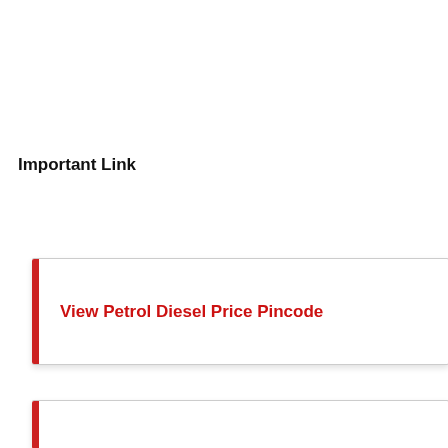Important Link
View Petrol Diesel Price Pincode